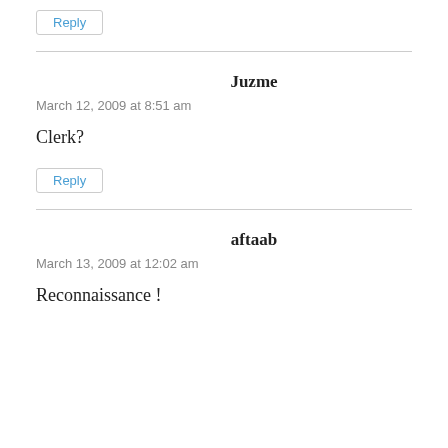Reply
Juzme
March 12, 2009 at 8:51 am
Clerk?
Reply
aftaab
March 13, 2009 at 12:02 am
Reconnaissance !